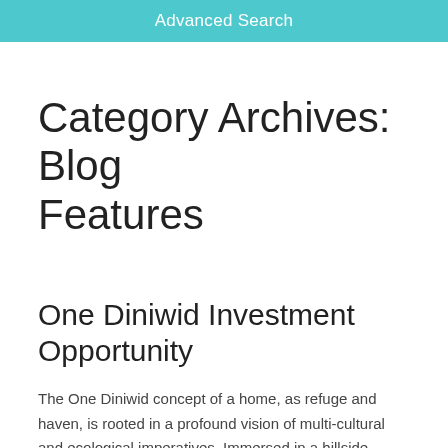Advanced Search
Category Archives: Blog Features
One Diniwid Investment Opportunity
The One Diniwid concept of a home, as refuge and haven, is rooted in a profound vision of multi-cultural and ecological imperatives. Immersed in a hillside forest, flanking one of the numerous powdery white beaches of Boracay Island, our boutique residential scheme discards for the most part, irrelevant innovations, borrows only from distinctive tribal...